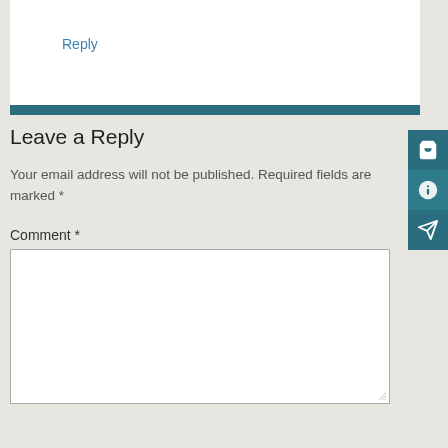Reply
Leave a Reply
Your email address will not be published. Required fields are marked *
Comment *